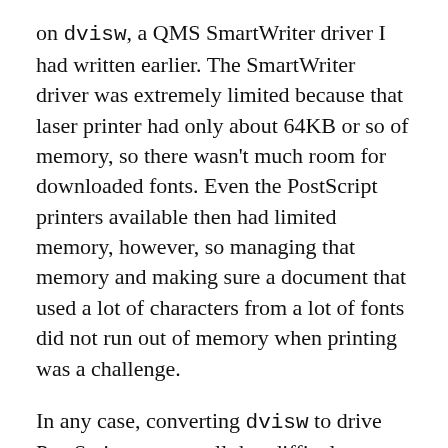on dvisw, a QMS SmartWriter driver I had written earlier. The SmartWriter driver was extremely limited because that laser printer had only about 64KB or so of memory, so there wasn't much room for downloaded fonts. Even the PostScript printers available then had limited memory, however, so managing that memory and making sure a document that used a lot of characters from a lot of fonts did not run out of memory when printing was a challenge.
In any case, converting dvisw to drive PostScript was not all that difficult; most of the code remained the same. I wanted to generate fairly concise PostScript (disk space being somewhat precious; I did not have a hard disk, and floppies only stored 800K each) so there was some effort there.